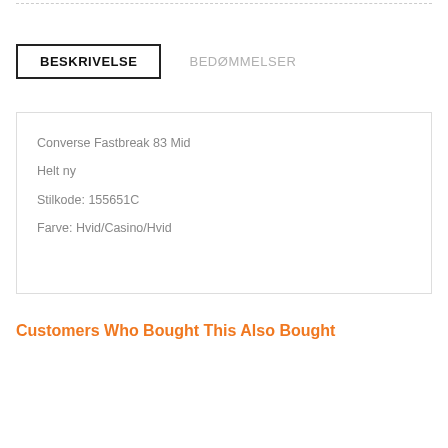BESKRIVELSE
BEDØMMELSER
Converse Fastbreak 83 Mid
Helt ny
Stilkode: 155651C
Farve: Hvid/Casino/Hvid
Customers Who Bought This Also Bought